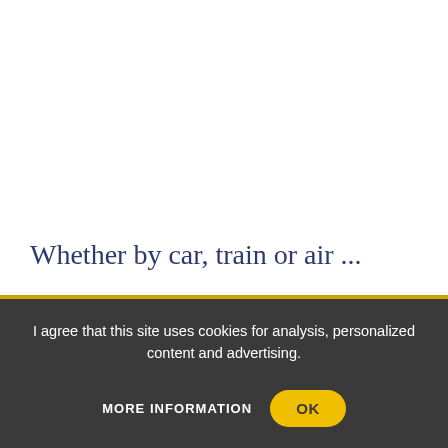Whether by car, train or air ...
I agree that this site uses cookies for analysis, personalized content and advertising.
MORE INFORMATION
OK